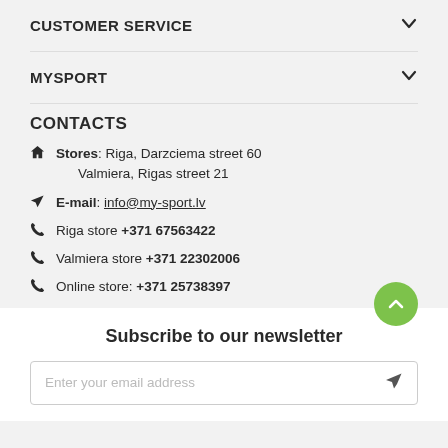CUSTOMER SERVICE
MYSPORT
CONTACTS
Stores: Riga, Darzciema street 60
Valmiera, Rigas street 21
E-mail: info@my-sport.lv
Riga store +371 67563422
Valmiera store +371 22302006
Online store: +371 25738397
Subscribe to our newsletter
Enter your email address